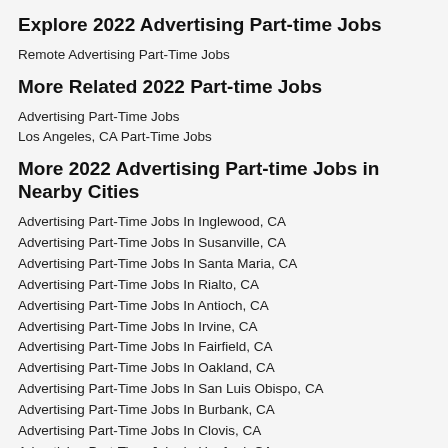Explore 2022 Advertising Part-time Jobs
Remote Advertising Part-Time Jobs
More Related 2022 Part-time Jobs
Advertising Part-Time Jobs
Los Angeles, CA Part-Time Jobs
More 2022 Advertising Part-time Jobs in Nearby Cities
Advertising Part-Time Jobs In Inglewood, CA
Advertising Part-Time Jobs In Susanville, CA
Advertising Part-Time Jobs In Santa Maria, CA
Advertising Part-Time Jobs In Rialto, CA
Advertising Part-Time Jobs In Antioch, CA
Advertising Part-Time Jobs In Irvine, CA
Advertising Part-Time Jobs In Fairfield, CA
Advertising Part-Time Jobs In Oakland, CA
Advertising Part-Time Jobs In San Luis Obispo, CA
Advertising Part-Time Jobs In Burbank, CA
Advertising Part-Time Jobs In Clovis, CA
Advertising Part-Time Jobs In Hanford, CA